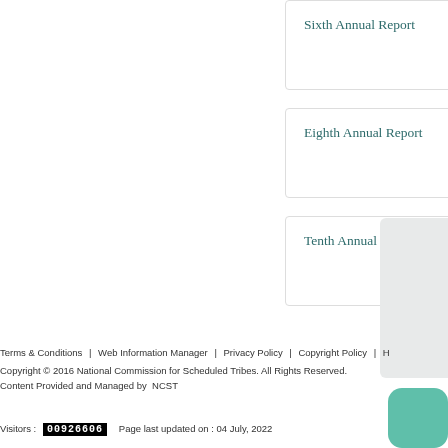Sixth Annual Report
Eighth Annual Report
Tenth Annual Re
Terms & Conditions | Web Information Manager | Privacy Policy | Copyright Policy | H
Copyright © 2016 National Commission for Scheduled Tribes. All Rights Reserved.
Content Provided and Managed by NCST
Visitors : 00926606  Page last updated on : 04 July, 2022